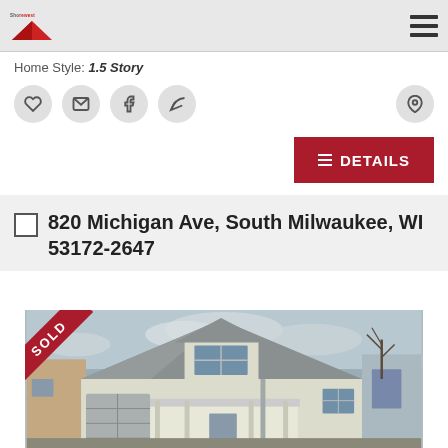Shorewest
Home Style: 1.5 Story
[Figure (screenshot): Action icons: heart/favorite, email, facebook share, share arrow, and map pin location icon]
[Figure (screenshot): Red DETAILS button with list icon]
820 Michigan Ave, South Milwaukee, WI 53172-2647
[Figure (photo): Exterior photo of a 1.5 story house at 820 Michigan Ave, South Milwaukee, WI with a SOLD ribbon overlay in upper left corner. White siding with green trim, peaked dormer, covered porch, and attached garage.]